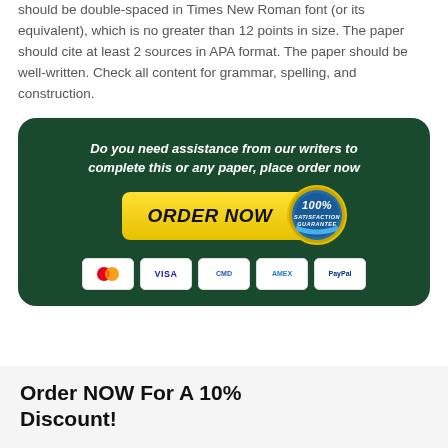should be double-spaced in Times New Roman font (or its equivalent), which is no greater than 12 points in size. The paper should cite at least 2 sources in APA format. The paper should be well-written. Check all content for grammar, spelling, and construction.
[Figure (infographic): Dark green rounded rectangle banner with white bold italic text reading 'Do you need assistance from our writers to complete this or any paper, place order now', a yellow ORDER NOW button, a 100% satisfaction guarantee badge, and payment icons for Mastercard, VISA, CMA, AMEX, and PayPal.]
Order NOW For A 10% Discount!